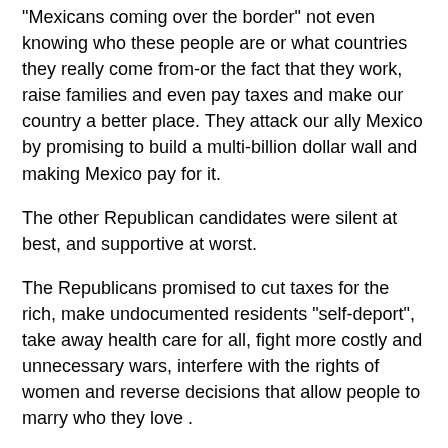“Mexicans coming over the border” not even knowing who these people are or what countries they really come from-or the fact that they work, raise families and even pay taxes and make our country a better place. They attack our ally Mexico by promising to build a multi-billion dollar wall and making Mexico pay for it.
The other Republican candidates were silent at best, and supportive at worst.
The Republicans promised to cut taxes for the rich, make undocumented residents “self-deport”, take away health care for all, fight more costly and unnecessary wars, interfere with the rights of women and reverse decisions that allow people to marry who they love .
This debate convinced me that our next president must be someone who knows that our country’s greatness is from all the